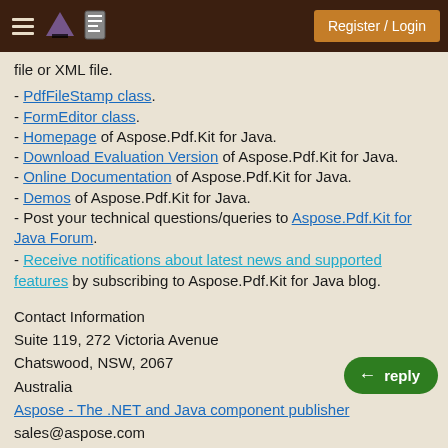Register / Login
file or XML file.
- PdfFileStamp class.
- FormEditor class.
- Homepage of Aspose.Pdf.Kit for Java.
- Download Evaluation Version of Aspose.Pdf.Kit for Java.
- Online Documentation of Aspose.Pdf.Kit for Java.
- Demos of Aspose.Pdf.Kit for Java.
- Post your technical questions/queries to Aspose.Pdf.Kit for Java Forum.
- Receive notifications about latest news and supported features by subscribing to Aspose.Pdf.Kit for Java blog.
Contact Information
Suite 119, 272 Victoria Avenue
Chatswood, NSW, 2067
Australia
Aspose - The .NET and Java component publisher
sales@aspose.com